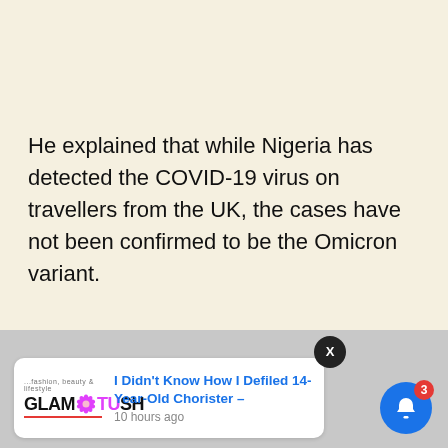He explained that while Nigeria has detected the COVID-19 virus on travellers from the UK, the cases have not been confirmed to be the Omicron variant.
[Figure (screenshot): Push notification card from Glamtush showing article 'I Didn't Know How I Defiled 14-Year-Old Chorister –' posted 10 hours ago, with a close (X) button and a blue bell notification button with badge showing 3]